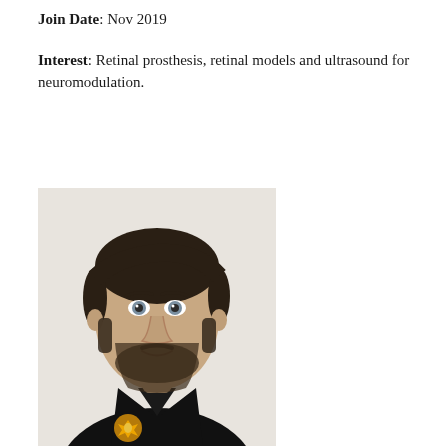Join Date: Nov 2019
Interest: Retinal prosthesis, retinal models and ultrasound for neuromodulation.
[Figure (photo): Headshot portrait of a young man with dark hair and beard wearing a black shirt with a golden emblem, photographed against a light background.]